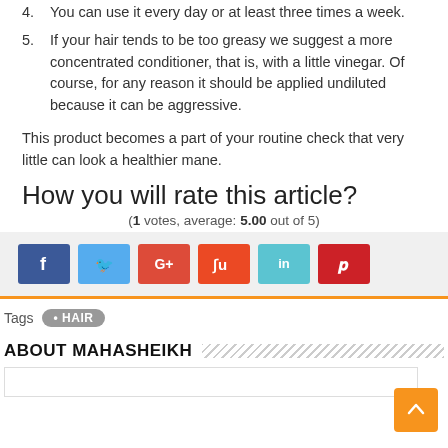4. You can use it every day or at least three times a week.
5. If your hair tends to be too greasy we suggest a more concentrated conditioner, that is, with a little vinegar. Of course, for any reason it should be applied undiluted because it can be aggressive.
This product becomes a part of your routine check that very little can look a healthier mane.
How you will rate this article?
(1 votes, average: 5.00 out of 5)
[Figure (infographic): Social sharing buttons: Facebook, Twitter, Google+, StumbleUpon, LinkedIn, Pinterest]
Tags  • HAIR
ABOUT MAHASHEIKH